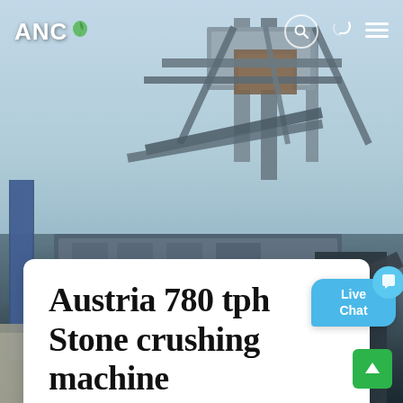[Figure (photo): Industrial stone crushing machinery photographed from below against a light blue sky. Large metal framework, conveyor structures, and heavy equipment components visible. Lower portion shows more machinery in darker industrial setting with purple pipes and concrete elements.]
ANC
Austria 780 tph Stone crushing machine
[Figure (infographic): Live Chat speech bubble in blue with text 'Live Chat' and a close X button]
Slide indicator dots (3 dots, second dot active/orange)